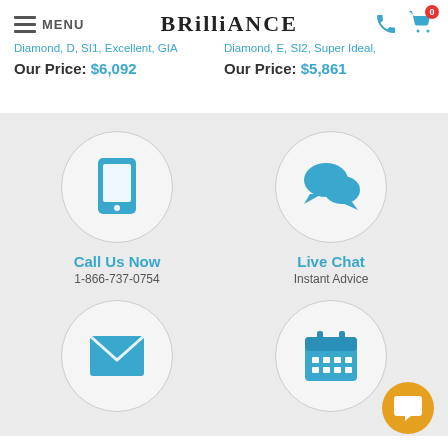BRILLIANCE
Diamond, D, SI1, Excellent, GIA
Diamond, E, SI2, Super Ideal,
Our Price: $6,092
Our Price: $5,861
[Figure (illustration): Phone/mobile icon in a circle - Call Us Now]
Call Us Now
1-866-737-0754
[Figure (illustration): Chat bubbles icon in a circle - Live Chat]
Live Chat
Instant Advice
[Figure (illustration): Email envelope icon in a circle]
[Figure (illustration): Calendar icon in a circle]
[Figure (illustration): Orange chat FAB button]